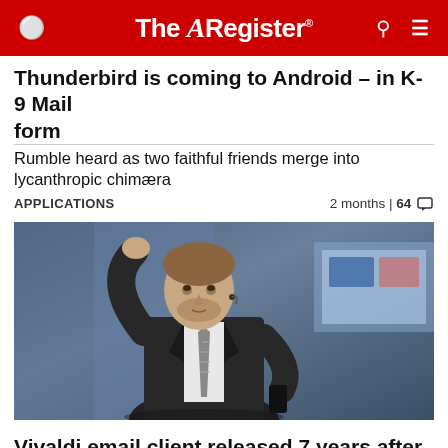The Register
Thunderbird is coming to Android – in K-9 Mail form
Rumble heard as two faithful friends merge into lycanthropic chimæra
APPLICATIONS   2 months | 64
[Figure (photo): Man in dark business suit and striped tie holding microphone, gesturing with raised arm at a conference or presentation event]
Vivaldi email client released 7 years after first announcement